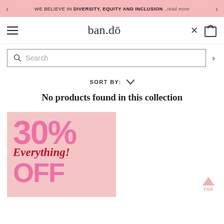WE BELIEVE IN DIVERSITY, EQUITY AND INCLUSION...read more
[Figure (logo): ban.do logo with macron over the o]
[Figure (screenshot): Search bar with magnifying glass icon and placeholder text 'Search']
SORT BY:
No products found in this collection
[Figure (infographic): Promotional banner on pink background showing '30% Everything! OFF' sale advertisement]